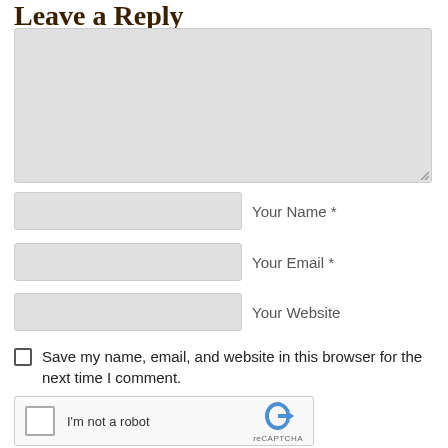Leave a Reply
[Figure (other): Comment text area input box (large gray rectangle with resize handle)]
Your Name *
Your Email *
Your Website
Save my name, email, and website in this browser for the next time I comment.
[Figure (other): reCAPTCHA widget showing checkbox and 'I'm not a robot' text with reCAPTCHA logo]